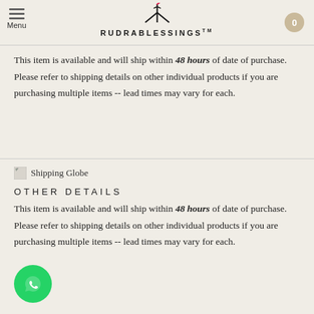Menu | RUDRABLESSINGS | 0
This item is available and will ship within 48 hours of date of purchase. Please refer to shipping details on other individual products if you are purchasing multiple items -- lead times may vary for each.
[Figure (illustration): Shipping Globe icon image]
OTHER DETAILS
This item is available and will ship within 48 hours of date of purchase. Please refer to shipping details on other individual products if you are purchasing multiple items -- lead times may vary for each.
[Figure (illustration): WhatsApp contact button icon]